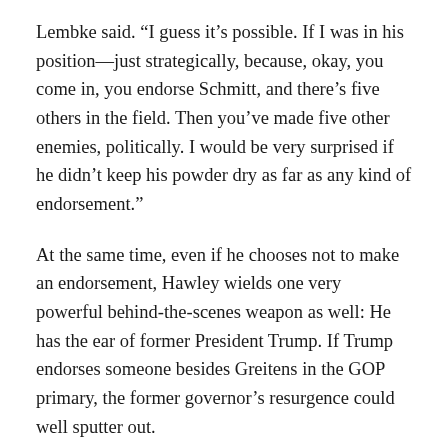Lembke said. “I guess it’s possible. If I was in his position—just strategically, because, okay, you come in, you endorse Schmitt, and there’s five others in the field. Then you’ve made five other enemies, politically. I would be very surprised if he didn’t keep his powder dry as far as any kind of endorsement.”
At the same time, even if he chooses not to make an endorsement, Hawley wields one very powerful behind-the-scenes weapon as well: He has the ear of former President Trump. If Trump endorses someone besides Greitens in the GOP primary, the former governor’s resurgence could well sputter out.
“You know, [Trump’s] very interested in this race because I think he understands the importance of the seat,” Hawley said last week. “I think it’s vital to hold the seat…”